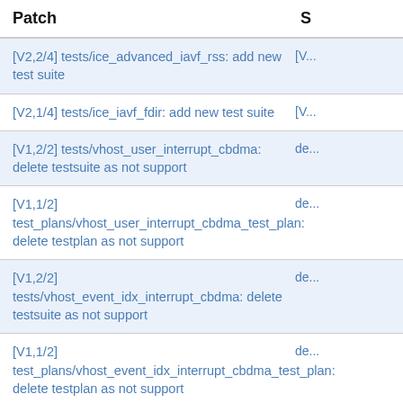| Patch | S |
| --- | --- |
| [V2,2/4] tests/ice_advanced_iavf_rss: add new test suite | [V... |
| [V2,1/4] tests/ice_iavf_fdir: add new test suite | [V... |
| [V1,2/2] tests/vhost_user_interrupt_cbdma: delete testsuite as not support | de... |
| [V1,1/2] test_plans/vhost_user_interrupt_cbdma_test_plan: delete testplan as not support | de... |
| [V1,2/2] tests/vhost_event_idx_interrupt_cbdma: delete testsuite as not support | de... |
| [V1,1/2] test_plans/vhost_event_idx_interrupt_cbdma_test_plan: delete testplan as not support | de... |
| [V1] tests/ptpclient: add the method of checking process status | [V... p... |
| [V1] test_plans/unit_tests_power: add a note | [V... |
| [V3,3/3] tests/ice_iavf_rx_timestamp: ice iavf support rx timestamp | ic... |
| [V3,2/3] test_plans/ice_iavf_rx_timestamp: ice iavf support rx timestamp | ic... |